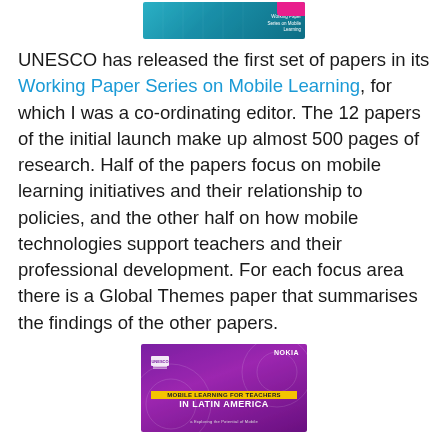[Figure (illustration): UNESCO Working Paper Series on Mobile Learning book cover — teal/cyan colored cover with white text]
UNESCO has released the first set of papers in its Working Paper Series on Mobile Learning, for which I was a co-ordinating editor. The 12 papers of the initial launch make up almost 500 pages of research. Half of the papers focus on mobile learning initiatives and their relationship to policies, and the other half on how mobile technologies support teachers and their professional development. For each focus area there is a Global Themes paper that summarises the findings of the other papers.
[Figure (illustration): Mobile Learning for Teachers in Latin America — purple/magenta colored cover with Nokia branding and UNESCO logo]